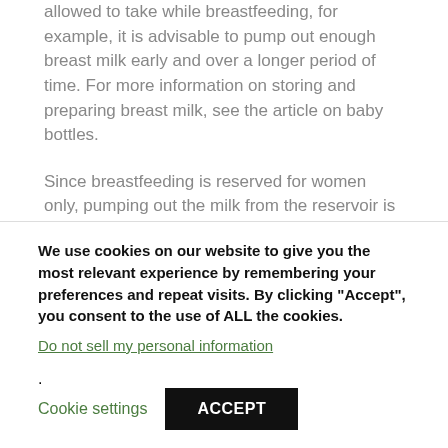allowed to take while breastfeeding, for example, it is advisable to pump out enough breast milk early and over a longer period of time. For more information on storing and preparing breast milk, see the article on baby bottles.
Since breastfeeding is reserved for women only, pumping out the milk from the reservoir is also a great advantage for daddy: He can feed your little darling with the valuable and nutrient-rich breast milk, hold him in his arms, cuddle him and strengthen his bond with your child.
We use cookies on our website to give you the most relevant experience by remembering your preferences and repeat visits. By clicking “Accept”, you consent to the use of ALL the cookies.
Do not sell my personal information.
Cookie settings
ACCEPT